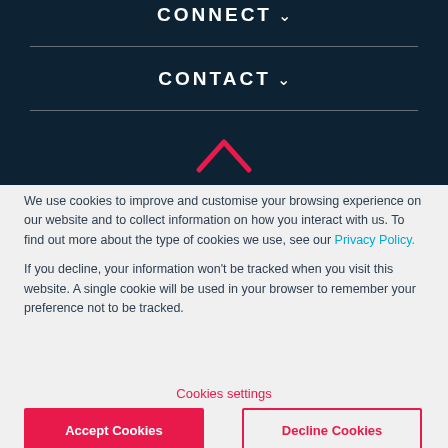CONNECT ▾
CONTACT ▾
We use cookies to improve and customise your browsing experience on our website and to collect information on how you interact with us. To find out more about the type of cookies we use, see our Privacy Policy.
If you decline, your information won't be tracked when you visit this website. A single cookie will be used in your browser to remember your preference not to be tracked.
Cookies settings
Accept Cookies
Decline Cookies